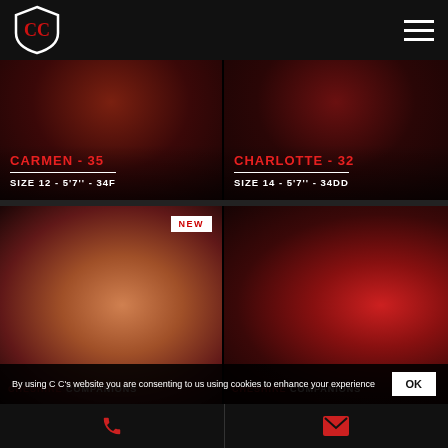Cheshire Companions — logo and navigation
[Figure (photo): Carmen profile photo card with name CARMEN - 35 and size SIZE 12 - 5'7'' - 34F]
[Figure (photo): Charlotte profile photo card with name CHARLOTTE - 32 and size SIZE 14 - 5'7'' - 34DD]
[Figure (photo): New companion photo panel (left) with NEW badge and CHESHIRE COMPANIONS watermark]
[Figure (photo): Companion in red fishnet photo panel (right) with CHESHIRE COMPANIONS watermark]
By using C C's website you are consenting to us using cookies to enhance your experience
Phone and email contact buttons